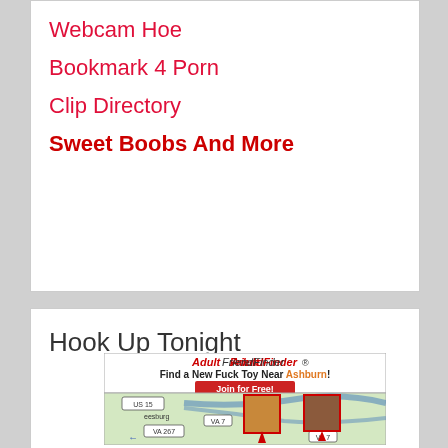Webcam Hoe
Bookmark 4 Porn
Clip Directory
Sweet Boobs And More
Hook Up Tonight
[Figure (screenshot): AdultFriendFinder advertisement with map showing Ashburn area with profile photos pinned to locations. Text: AdultFriendFinder - Find a New Fuck Toy Near Ashburn! Join for Free!]